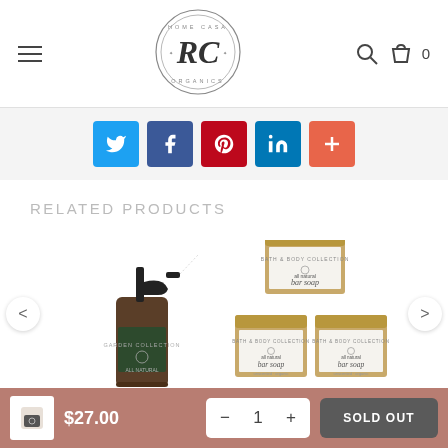[Figure (logo): Home Casa Organics circular logo with stylized RC monogram]
[Figure (infographic): Social share buttons row: Twitter (blue), Facebook (dark blue), Pinterest (red), LinkedIn (blue), Plus/share (orange-red)]
RELATED PRODUCTS
[Figure (photo): Spray bottle product - dark amber glass spray bottle with black trigger, green label reading 'ALL NATURAL']
[Figure (photo): Three bar soap boxes in kraft paper packaging labeled 'bar soap', stacked in a triangular arrangement]
$27.00
1
SOLD OUT